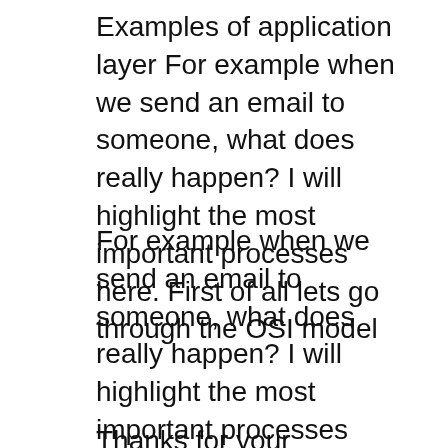Examples of application layer For example when we send an email to someone, what does really happen? I will highlight the most important processes here. First of all lets go through the OSI model
For example when we send an email to someone, what does really happen? I will highlight the most important processes here. First of all lets go through the OSI model Because both the OSI and TCP/IP models are still used when describing modern The OSI model was developed by the International Organization For example, the
Thanks for your comments on my first